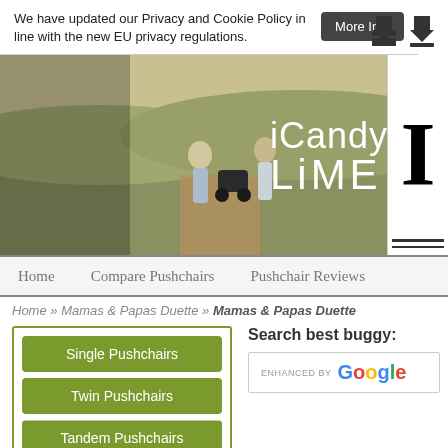We have updated our Privacy and Cookie Policy in line with the new EU privacy regulations.
More Info
[Figure (photo): iCandy LiME advertisement: couple walking with a pram/pushchair on a wooden boardwalk through a field]
Home   Compare Pushchairs   Pushchair Reviews
Home » Mamas & Papas Duette » Mamas & Papas Duette
Single Pushchairs
Twin Pushchairs
Tandem Pushchairs
Search best buggy:
ENHANCED BY Google